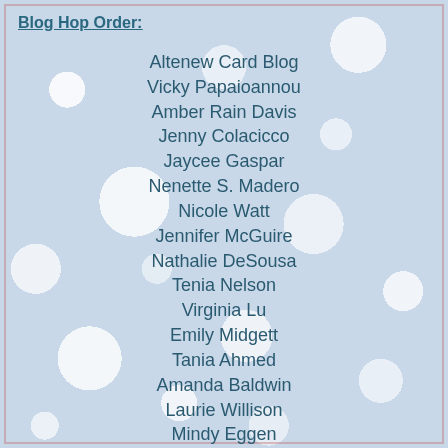Blog Hop Order:
Altenew Card Blog
Vicky Papaioannou
Amber Rain Davis
Jenny Colacicco
Jaycee Gaspar
Nenette S. Madero
Nicole Watt
Jennifer McGuire
Nathalie DeSousa
Tenia Nelson
Virginia Lu
Emily Midgett
Tania Ahmed
Amanda Baldwin
Laurie Willison
Mindy Eggen
Lilith Eeckels
>>>>>Vicki Finger<<<<<
Therese Calvird